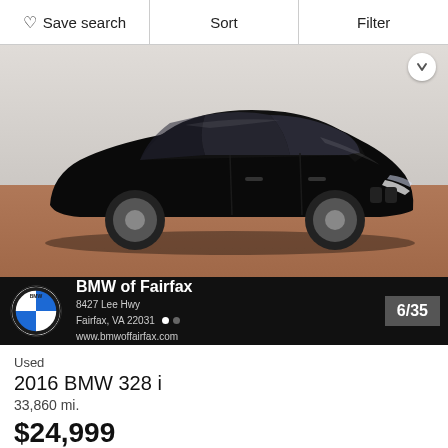Save search | Sort | Filter
[Figure (photo): Black BMW 328i sedan photographed from the side in a dealership showroom with reddish-brown floor. Dealer overlay at bottom shows BMW logo, BMW of Fairfax, 8427 Lee Hwy, Fairfax, VA 22031, www.bmwoffairfax.com, 6/35.]
Used
2016 BMW 328 i
33,860 mi.
$24,999
$331 est./mo.*